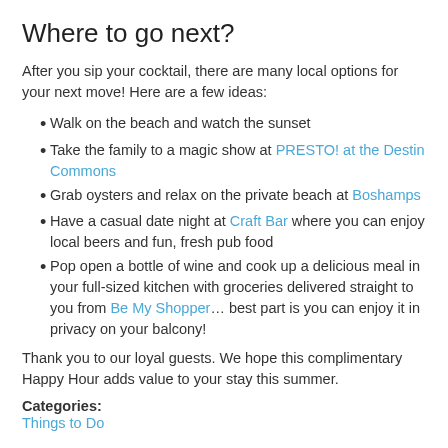Where to go next?
After you sip your cocktail, there are many local options for your next move! Here are a few ideas:
Walk on the beach and watch the sunset
Take the family to a magic show at PRESTO! at the Destin Commons
Grab oysters and relax on the private beach at Boshamps
Have a casual date night at Craft Bar where you can enjoy local beers and fun, fresh pub food
Pop open a bottle of wine and cook up a delicious meal in your full-sized kitchen with groceries delivered straight to you from Be My Shopper... best part is you can enjoy it in privacy on your balcony!
Thank you to our loyal guests. We hope this complimentary Happy Hour adds value to your stay this summer.
Categories:
Things to Do